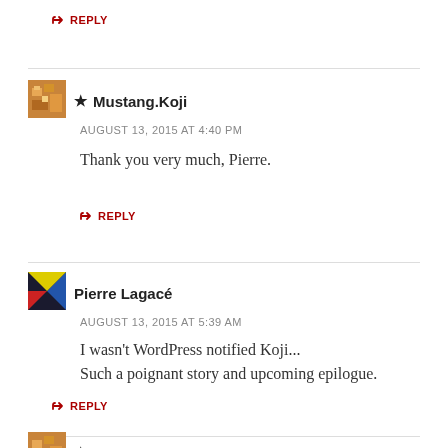↳ REPLY
★ Mustang.Koji
AUGUST 13, 2015 AT 4:40 PM
Thank you very much, Pierre.
↳ REPLY
Pierre Lagacé
AUGUST 13, 2015 AT 5:39 AM
I wasn't WordPress notified Koji...
Such a poignant story and upcoming epilogue.
↳ REPLY
★ Mustang.Koji